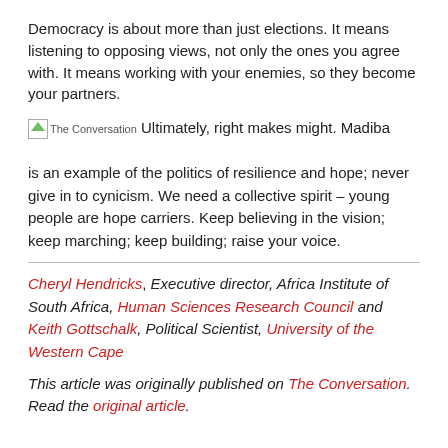Democracy is about more than just elections. It means listening to opposing views, not only the ones you agree with. It means working with your enemies, so they become your partners.
[The Conversation logo] Ultimately, right makes might. Madiba is an example of the politics of resilience and hope; never give in to cynicism. We need a collective spirit – young people are hope carriers. Keep believing in the vision; keep marching; keep building; raise your voice.
Cheryl Hendricks, Executive director, Africa Institute of South Africa, Human Sciences Research Council and Keith Gottschalk, Political Scientist, University of the Western Cape
This article was originally published on The Conversation. Read the original article.